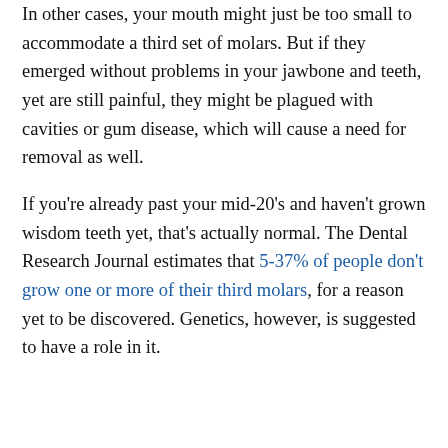In other cases, your mouth might just be too small to accommodate a third set of molars. But if they emerged without problems in your jawbone and teeth, yet are still painful, they might be plagued with cavities or gum disease, which will cause a need for removal as well.
If you're already past your mid-20's and haven't grown wisdom teeth yet, that's actually normal. The Dental Research Journal estimates that 5-37% of people don't grow one or more of their third molars, for a reason yet to be discovered. Genetics, however, is suggested to have a role in it.